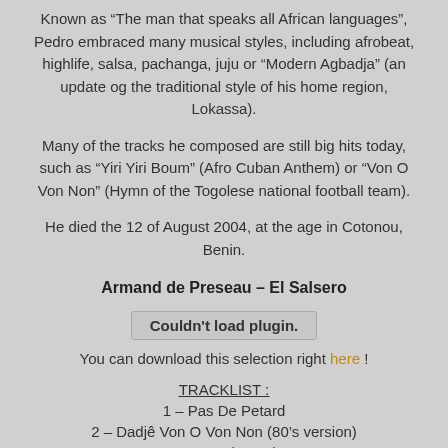Known as “The man that speaks all African languages”, Pedro embraced many musical styles, including afrobeat, highlife, salsa, pachanga, juju or “Modern Agbadja” (an update og the traditional style of his home region, Lokassa).
Many of the tracks he composed are still big hits today, such as “Yiri Yiri Boum” (Afro Cuban Anthem) or “Von O Von Non” (Hymn of the Togolese national football team).
He died the 12 of August 2004, at the age in Cotonou, Benin.
Armand de Preseau – El Salsero
[Figure (other): Couldn't load plugin. plugin box UI element]
You can download this selection right here !
TRACKLIST :
1 – Pas De Petard
2 – Dadjê Von O Von Non (80’s version)
3 – I Feel Good